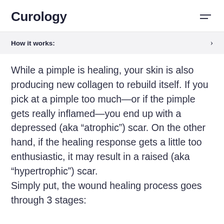Curology
How it works:
While a pimple is healing, your skin is also producing new collagen to rebuild itself. If you pick at a pimple too much—or if the pimple gets really inflamed—you end up with a depressed (aka “atrophic”) scar. On the other hand, if the healing response gets a little too enthusiastic, it may result in a raised (aka “hypertrophic”) scar.
Simply put, the wound healing process goes through 3 stages: